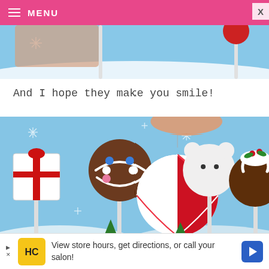MENU
[Figure (photo): Top portion of a photo showing Christmas cake pops on sticks against a blue background with snowflakes, partially cropped at top]
And I hope they make you smile!
[Figure (photo): A hand holding a red and white peppermint swirl glitter ornament/cake pop on a string, surrounded by other Christmas-themed cake pops including a gingerbread man, a polar bear, a Christmas pudding, and a gift box, against a blue background with snowflakes]
[Figure (other): Advertisement banner: HC logo with text 'View store hours, get directions, or call your salon!' and a blue navigation arrow icon]